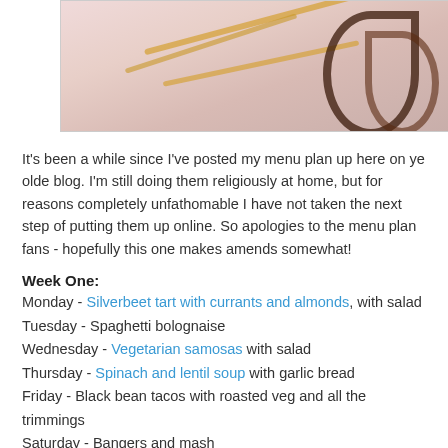[Figure (photo): Cropped photo of pasta dish with noodles and dark sauce/garnish on a light pinkish background]
It's been a while since I've posted my menu plan up here on ye olde blog. I'm still doing them religiously at home, but for reasons completely unfathomable I have not taken the next step of putting them up online. So apologies to the menu plan fans - hopefully this one makes amends somewhat!
Week One:
Monday - Silverbeet tart with currants and almonds, with salad
Tuesday - Spaghetti bolognaise
Wednesday - Vegetarian samosas with salad
Thursday - Spinach and lentil soup with garlic bread
Friday - Black bean tacos with roasted veg and all the trimmings
Saturday - Bangers and mash
Sunday - Tomato, capsicum and olive pasta with green salad